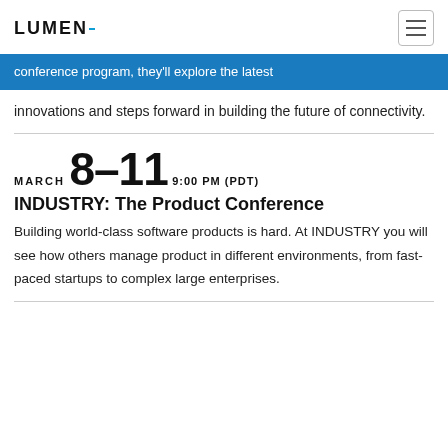LUMEN
conference program, they'll explore the latest innovations and steps forward in building the future of connectivity.
MARCH
8-11
9:00 PM (PDT)
INDUSTRY: The Product Conference
Building world-class software products is hard. At INDUSTRY you will see how others manage product in different environments, from fast-paced startups to complex large enterprises.